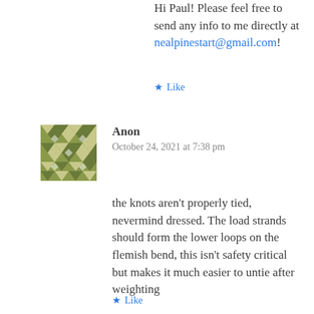Hi Paul! Please feel free to send any info to me directly at nealpinestart@gmail.com!
★ Like
[Figure (illustration): Avatar image: a decorative geometric pattern in olive/green tones with diamond and triangle shapes arranged in a square grid, representing the user avatar for Anon]
Anon
October 24, 2021 at 7:38 pm
the knots aren't properly tied, nevermind dressed. The load strands should form the lower loops on the flemish bend, this isn't safety critical but makes it much easier to untie after weighting
★ Like